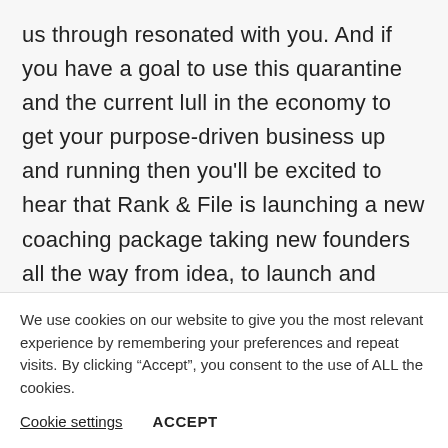us through resonated with you. And if you have a goal to use this quarantine and the current lull in the economy to get your purpose-driven business up and running then you'll be excited to hear that Rank & File is launching a new coaching package taking new founders all the way from idea, to launch and generating revenue.
It's called 'RISING YOU' and I'm announcing it for
We use cookies on our website to give you the most relevant experience by remembering your preferences and repeat visits. By clicking "Accept", you consent to the use of ALL the cookies.
Cookie settings    ACCEPT